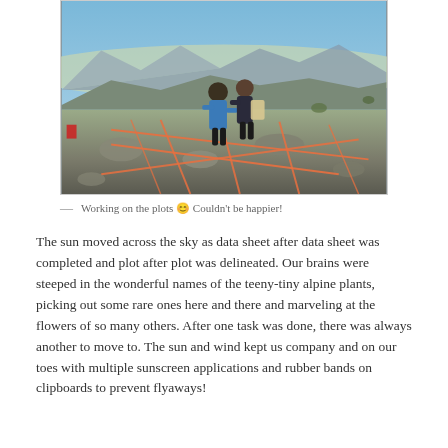[Figure (photo): Two researchers standing on a rocky alpine mountain ridge, looking at a data sheet. Orange survey ropes are laid out in a grid pattern on the rocky ground in the foreground. Mountain ranges and valleys visible in the background under a blue sky.]
— Working on the plots 😊 Couldn't be happier!
The sun moved across the sky as data sheet after data sheet was completed and plot after plot was delineated. Our brains were steeped in the wonderful names of the teeny-tiny alpine plants, picking out some rare ones here and there and marveling at the flowers of so many others. After one task was done, there was always another to move to. The sun and wind kept us company and on our toes with multiple sunscreen applications and rubber bands on clipboards to prevent flyaways!